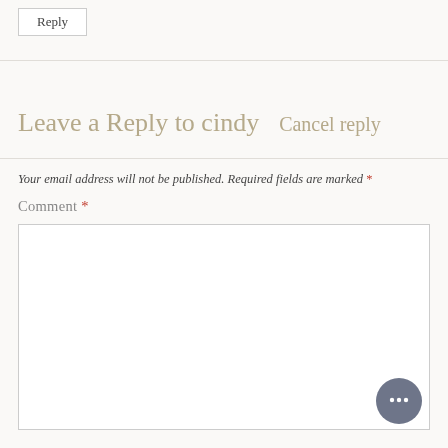Reply
Leave a Reply to cindy   Cancel reply
Your email address will not be published. Required fields are marked *
Comment *
[Figure (illustration): Gray circular chat bubble icon button in bottom right corner]